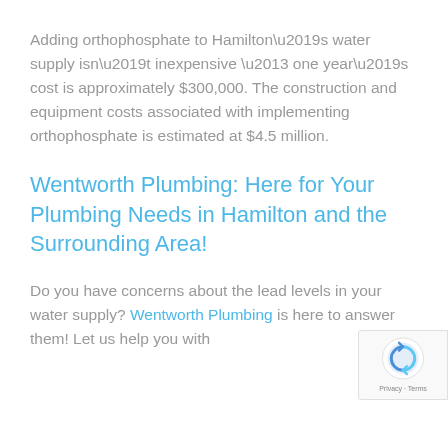Adding orthophosphate to Hamilton’s water supply isn’t inexpensive – one year’s cost is approximately $300,000. The construction and equipment costs associated with implementing orthophosphate is estimated at $4.5 million.
Wentworth Plumbing: Here for Your Plumbing Needs in Hamilton and the Surrounding Area!
Do you have concerns about the lead levels in your water supply? Wentworth Plumbing is here to answer them! Let us help you with